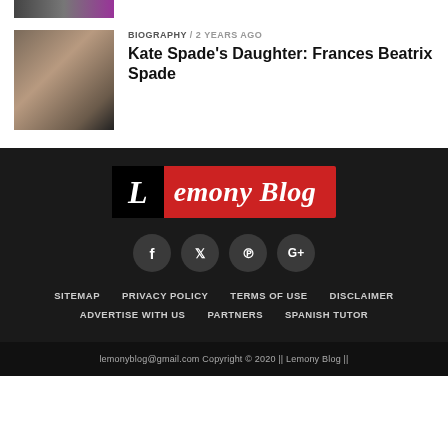[Figure (photo): Partial photo strip at top left of page]
[Figure (photo): Photo of Kate Spade, woman smiling, dark hair]
BIOGRAPHY / 2 years ago
Kate Spade's Daughter: Frances Beatrix Spade
[Figure (logo): Lemony Blog logo: red banner with black L box and italic white text 'emony Blog']
[Figure (infographic): Social media icons: Facebook, Twitter, Pinterest, Google+]
SITEMAP
PRIVACY POLICY
TERMS OF USE
DISCLAIMER
ADVERTISE WITH US
PARTNERS
SPANISH TUTOR
lemonyblog@gmail.com Copyright © 2020 || Lemony Blog ||